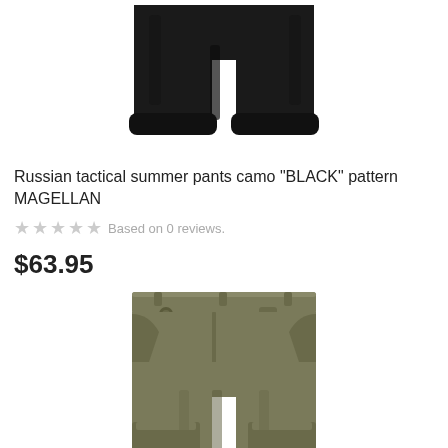[Figure (photo): Black tactical pants viewed from the bottom half, showing the legs and cuffed ankles against a white background.]
Russian tactical summer pants camo "BLACK" pattern MAGELLAN
★★★★★ Based on 0 reviews.
$63.95
[Figure (photo): Olive/khaki tactical cargo pants, front view showing waistband with button, front pockets, and cargo pockets on the legs, against a white background.]